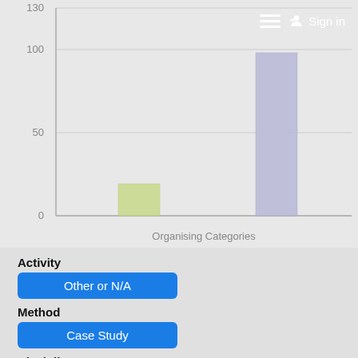Sign in
[Figure (bar-chart): Organising Categories]
Activity
Other or N/A
Method
Case Study
Discipline